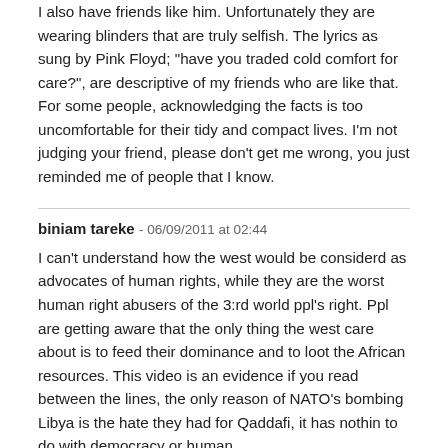I also have friends like him. Unfortunately they are wearing blinders that are truly selfish. The lyrics as sung by Pink Floyd; "have you traded cold comfort for care?", are descriptive of my friends who are like that. For some people, acknowledging the facts is too uncomfortable for their tidy and compact lives. I'm not judging your friend, please don't get me wrong, you just reminded me of people that I know.
biniam tareke - 06/09/2011 at 02:44
I can't understand how the west would be considerd as advocates of human rights, while they are the worst human right abusers of the 3:rd world ppl's right. Ppl are getting aware that the only thing the west care about is to feed their dominance and to loot the African resources. This video is an evidence if you read between the lines, the only reason of NATO's bombing Libya is the hate they had for Qaddafi, it has nothin to do with democracy or human